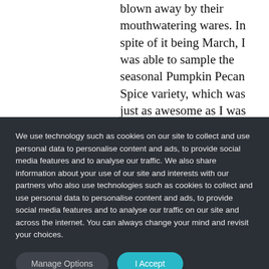blown away by their mouthwatering wares. In spite of it being March, I was able to sample the seasonal Pumpkin Pecan Spice variety, which was just as awesome as I was hoping. But don't worry—for you guys, I kept on eating. Any of their four year-round offerings—cinnamon oatmeal raisin, chocolate
We use technology such as cookies on our site to collect and use personal data to personalise content and ads, to provide social media features and to analyse our traffic. We also share information about your use of our site and interests with our partners who also use technologies such as cookies to collect and use personal data to personalise content and ads, to provide social media features and to analyse our traffic on our site and across the internet. You can always change your mind and revisit your choices.